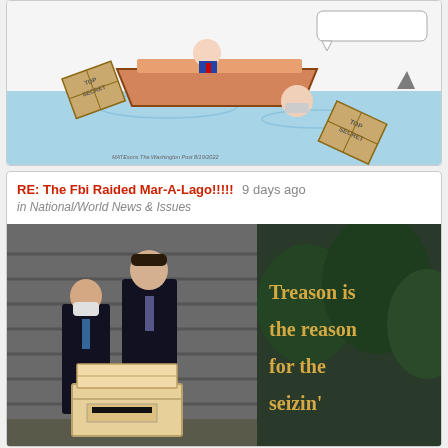[Figure (illustration): Political cartoon from The Washington Post showing a sinking boat with boxes labeled TOP SECRET floating and sinking in water, with figures in the boat and a shark fin visible.]
RE: The Fbi Raided Mar-A-Lago!!!!! 9 days ago
in National/World News & Issues
[Figure (photo): Photo of two men in suits carrying boxes, overlaid with text reading "Treason is the reason for the seizin'"]